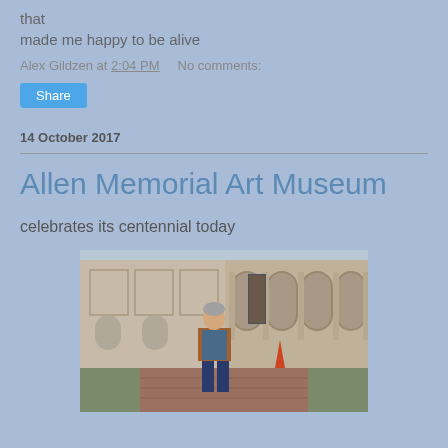that
made me happy to be alive
Alex Gildzen at 2:04 PM    No comments:
Share
14 October 2017
Allen Memorial Art Museum
celebrates its centennial today
[Figure (photo): A man in a brown jacket and jeans stands in front of the Allen Memorial Art Museum building, which features classical arched colonnades. He is standing on a brick pathway with green lawn visible.]